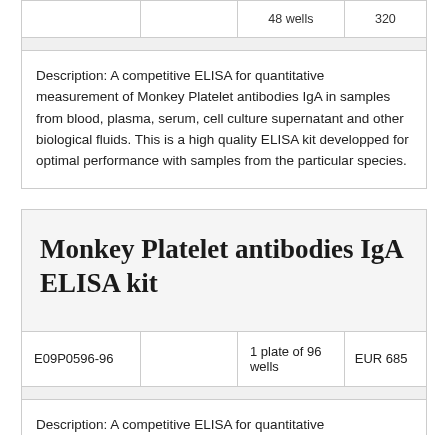|  |  | 48 wells | 320 |
| --- | --- | --- | --- |
|  |  | 48 wells | 320 |
Description: A competitive ELISA for quantitative measurement of Monkey Platelet antibodies IgA in samples from blood, plasma, serum, cell culture supernatant and other biological fluids. This is a high quality ELISA kit developped for optimal performance with samples from the particular species.
Monkey Platelet antibodies IgA ELISA kit
|  |  | 1 plate of 96 wells | EUR 685 |
| --- | --- | --- | --- |
| E09P0596-96 |  | 1 plate of 96 wells | EUR 685 |
Description: A competitive ELISA for quantitative